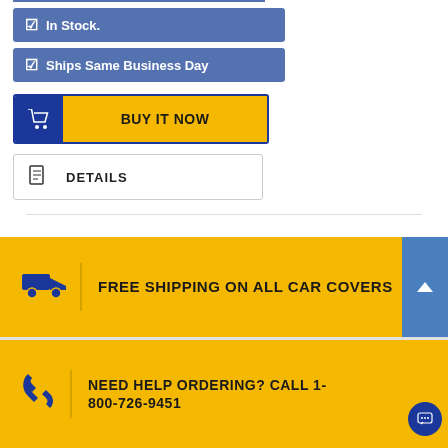✔ In Stock.
✔ Ships Same Business Day
BUY IT NOW
DETAILS
FREE SHIPPING ON ALL CAR COVERS
NEED HELP ORDERING? CALL 1-800-726-9451